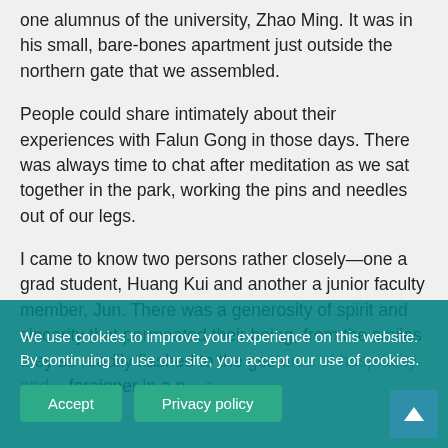one alumnus of the university, Zhao Ming. It was in his small, bare-bones apartment just outside the northern gate that we assembled.
People could share intimately about their experiences with Falun Gong in those days. There was always time to chat after meditation as we sat together in the park, working the pins and needles out of our legs.
I came to know two persons rather closely—one a grad student, Huang Kui and another a junior faculty member, Jun. There was a generosity of spirit and sincerity that permeated their being, from the smiles they so readily flashed to the gestures of hospitality and... foreigner in a n... c....
We use cookies to improve your experience on this website. By continuing to use our site, you accept our use of cookies.